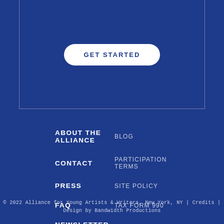GET STARTED
ABOUT THE ALLIANCE
BLOG
CONTACT
PARTICIPATION TERMS
PRESS
SITE POLICY
FAQ
TAX FORM 990
NEWSLETTER
© 2022 Alliance for Young Artists & Writers, New York, NY | Credits | Design by Bandwidth Productions